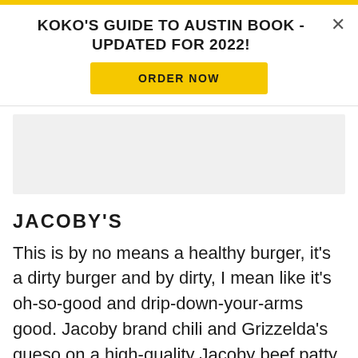KOKO'S GUIDE TO AUSTIN BOOK - UPDATED FOR 2022!
[Figure (other): Gray advertisement placeholder block]
JACOBY'S
This is by no means a healthy burger, it's a dirty burger and by dirty, I mean like it's oh-so-good and drip-down-your-arms good. Jacoby brand chili and Grizzelda's queso on a high-quality Jacoby beef patty.